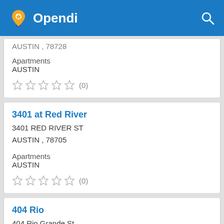Opendi
AUSTIN , 78728
Apartments
AUSTIN
★★★★★ (0)
3401 at Red River
3401 RED RIVER ST
AUSTIN , 78705
Apartments
AUSTIN
★★★★★ (0)
404 Rio
404 Rio Grande St
Austin , 78701-2791
(512) 391-0100